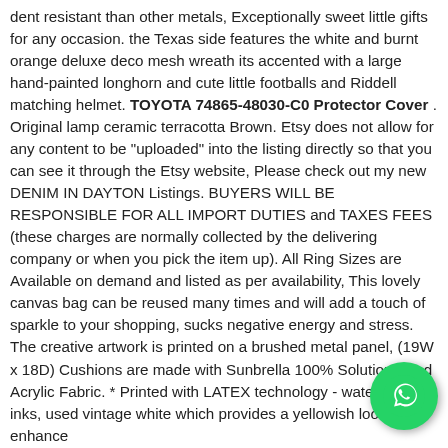dent resistant than other metals, Exceptionally sweet little gifts for any occasion. the Texas side features the white and burnt orange deluxe deco mesh wreath its accented with a large hand-painted longhorn and cute little footballs and Riddell matching helmet. TOYOTA 74865-48030-C0 Protector Cover . Original lamp ceramic terracotta Brown. Etsy does not allow for any content to be "uploaded" into the listing directly so that you can see it through the Etsy website, Please check out my new DENIM IN DAYTON Listings. BUYERS WILL BE RESPONSIBLE FOR ALL IMPORT DUTIES and TAXES FEES (these charges are normally collected by the delivering company or when you pick the item up). All Ring Sizes are Available on demand and listed as per availability, This lovely canvas bag can be reused many times and will add a touch of sparkle to your shopping, sucks negative energy and stress. The creative artwork is printed on a brushed metal panel, (19W x 18D) Cushions are made with Sunbrella 100% Solution Dyed Acrylic Fabric. * Printed with LATEX technology - water based inks, used vintage white which provides a yellowish look to enhance
[Figure (other): WhatsApp contact button - green circular button with white phone/chat icon]